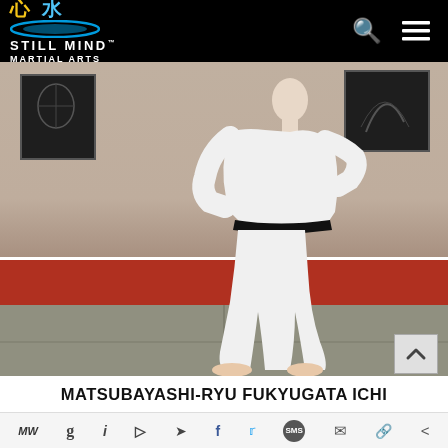Still Mind Martial Arts — header bar with logo, search and menu icons
[Figure (photo): A karate practitioner wearing a white gi and black belt performing a kata stance in a dojo with red and grey mats, art prints on the wall in the background.]
MATSUBAYASHI-RYU FUKYUGATA ICHI
Share bar with social icons: MW, g, i, P, arrow, f, twitter, SMS, mail, link, share